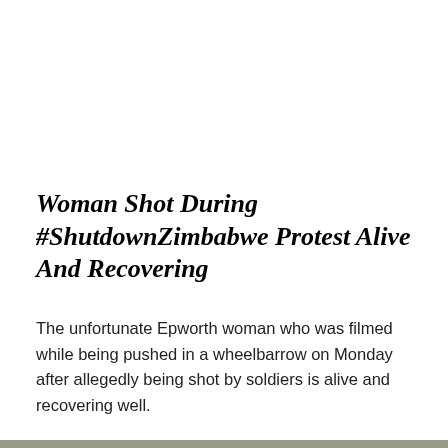Woman Shot During #ShutdownZimbabwe Protest Alive And Recovering
The unfortunate Epworth woman who was filmed while being pushed in a wheelbarrow on Monday after allegedly being shot by soldiers is alive and recovering well.
[Figure (photo): A woman appearing injured or in distress on a road, with a person in checkered shorts standing behind her and a cameraman filming on the right side.]